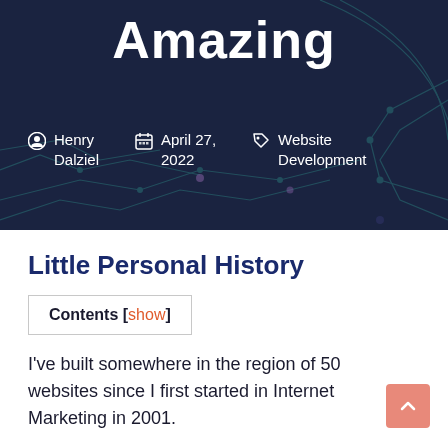Amazing
Henry Dalziel  April 27, 2022  Website Development
Little Personal History
Contents [show]
I've built somewhere in the region of 50 websites since I first started in Internet Marketing in 2001.